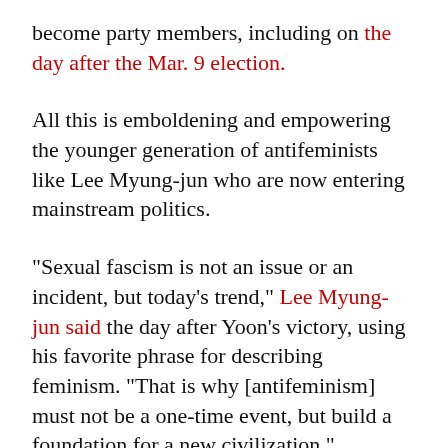become party members, including on the day after the Mar. 9 election.
All this is emboldening and empowering the younger generation of antifeminists like Lee Myung-jun who are now entering mainstream politics.
"Sexual fascism is not an issue or an incident, but today’s trend," Lee Myung-jun said the day after Yoon’s victory, using his favorite phrase for describing feminism. "That is why [antifeminism] must not be a one-time event, but build a foundation for a new civilization."